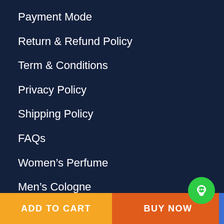Payment Mode
Return & Refund Policy
Term & Conditions
Privacy Policy
Shipping Policy
FAQs
Women's Perfume
Men's Cologne
Track Order
Wishlist
ADD TO CART
BUY NOW